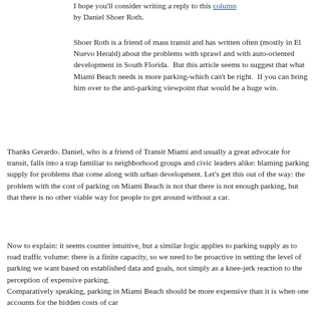I hope you'll consider writing a reply to this column by Daniel Shoer Roth.
Shoer Roth is a friend of mass transit and has written often (mostly in El Nuevo Herald) about the problems with sprawl and with auto-oriented development in South Florida. But this article seems to suggest that what Miami Beach needs is more parking-which can't be right. If you can bring him over to the anti-parking viewpoint that would be a huge win.
Thanks Gerardo. Daniel, who is a friend of Transit Miami and usually a great advocate for transit, falls into a trap familiar to neighborhood groups and civic leaders alike: blaming parking supply for problems that come along with urban development. Let's get this out of the way: the problem with the cost of parking on Miami Beach is not that there is not enough parking, but that there is no other viable way for people to get around without a car.
Now to explain: it seems counter intuitive, but a similar logic applies to parking supply as to road traffic volume: there is a finite capacity, so we need to be proactive in setting the level of parking we want based on established data and goals, not simply as a knee-jerk reaction to the perception of expensive parking. Comparatively speaking, parking in Miami Beach should be more expensive than it is when one accounts for the hidden costs of car